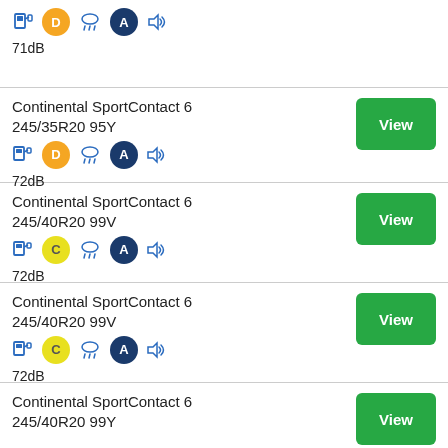71dB
Continental SportContact 6 245/35R20 95Y
72dB
Continental SportContact 6 245/40R20 99V
72dB
Continental SportContact 6 245/40R20 99V
72dB
Continental SportContact 6 245/40R20 99Y